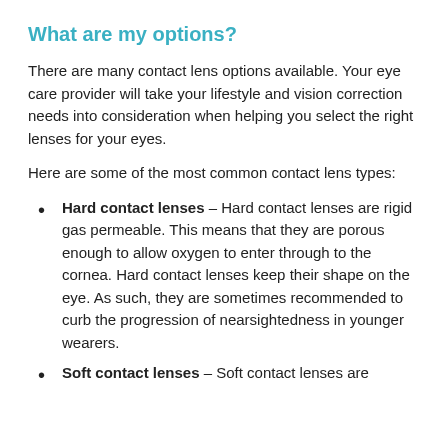What are my options?
There are many contact lens options available. Your eye care provider will take your lifestyle and vision correction needs into consideration when helping you select the right lenses for your eyes.
Here are some of the most common contact lens types:
Hard contact lenses – Hard contact lenses are rigid gas permeable. This means that they are porous enough to allow oxygen to enter through to the cornea. Hard contact lenses keep their shape on the eye. As such, they are sometimes recommended to curb the progression of nearsightedness in younger wearers.
Soft contact lenses – Soft contact lenses are